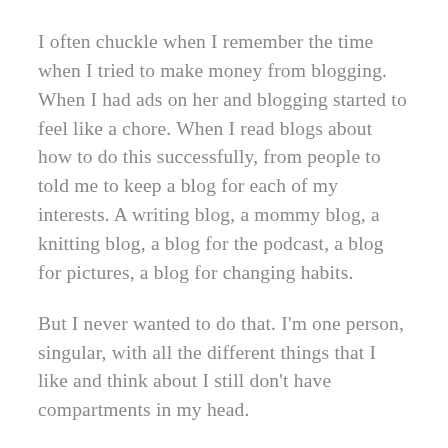I often chuckle when I remember the time when I tried to make money from blogging. When I had ads on her and blogging started to feel like a chore. When I read blogs about how to do this successfully, from people to told me to keep a blog for each of my interests. A writing blog, a mommy blog, a knitting blog, a blog for the podcast, a blog for pictures, a blog for changing habits.
But I never wanted to do that. I'm one person, singular, with all the different things that I like and think about I still don't have compartments in my head.